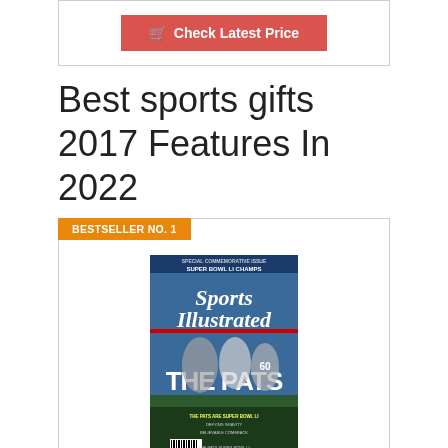[Figure (other): Red button labeled 'Check Latest Price' with shopping cart icon, inside a bordered box]
Best sports gifts 2017 Features In 2022
BESTSELLER NO. 1
[Figure (photo): Sports Illustrated New England Patriots Super Bowl LI Champions commemorative issue magazine cover featuring 'THE PATS' headline and players]
Sports Illustrated New England Patriots Super Bowl LI Champions